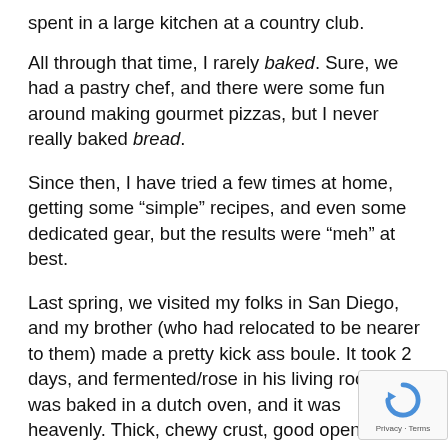spent in a large kitchen at a country club.
All through that time, I rarely baked. Sure, we had a pastry chef, and there were some fun around making gourmet pizzas, but I never really baked bread.
Since then, I have tried a few times at home, getting some “simple” recipes, and even some dedicated gear, but the results were “meh” at best.
Last spring, we visited my folks in San Diego, and my brother (who had relocated to be nearer to them) made a pretty kick ass boule. It took 2 days, and fermented/rose in his living room, was baked in a dutch oven, and it was heavenly. Thick, chewy crust, good open crumble within, it was delightful. Who could have said that the combination of 4 ingred (flour, water, salt and yeast) would make so much